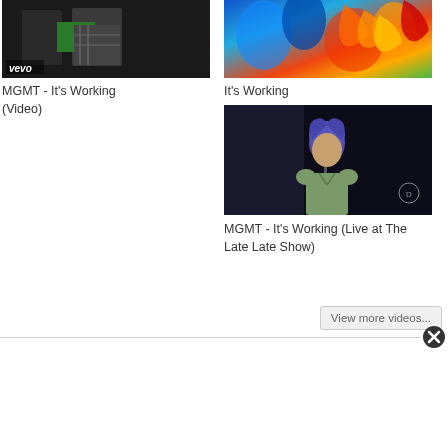[Figure (screenshot): Video thumbnail for MGMT It's Working (Video) with vevo logo overlay, dark concert scene]
MGMT - It's Working (Video)
[Figure (screenshot): Colorful animated/illustrated video thumbnail for It's Working]
It's Working
[Figure (screenshot): Video thumbnail for MGMT It's Working Live at The Late Late Show, performer at microphone]
MGMT - It's Working (Live at The Late Late Show)
View more videos...